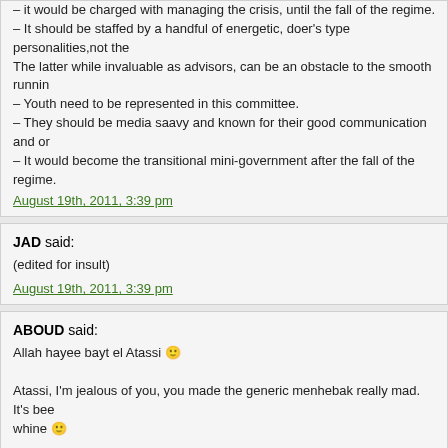– it would be charged with managing the crisis, until the fall of the regime.
– It should be staffed by a handful of energetic, doer's type personalities, not the
The latter while invaluable as advisors, can be an obstacle to the smooth running
– Youth need to be represented in this committee.
– They should be media saavy and known for their good communication and or
– It would become the transitional mini-government after the fall of the regime.
August 19th, 2011, 3:39 pm
JAD said:
(edited for insult)
August 19th, 2011, 3:39 pm
ABOUD said:
Allah hayee bayt el Atassi 🙂
Atassi, I'm jealous of you, you made the generic menhebak really mad. It's been whine 🙂
Jad that's not what you said before you edited your comment. You used the wo
August 19th, 2011, 3:47 pm
HAYTHAM KHOURY said:
to Revlon @68.
Anything that works is fine. However, the most important it should be practical.
Let us see what the coming days will unveil.
August 19th, 2011, 4:07 pm